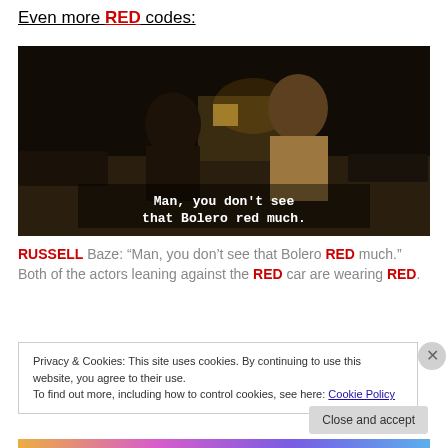Even more RED codes:
[Figure (screenshot): Dark nighttime scene still from a movie showing two figures standing outdoors, with subtitle text: Man, you don't see that Bolero red much.]
RUSSELL Baze: "Man, you don't see that Bolero RED much." Both of the actors leaning against the RED car are wearing RED.
Privacy & Cookies: This site uses cookies. By continuing to use this website, you agree to their use. To find out more, including how to control cookies, see here: Cookie Policy
Close and accept